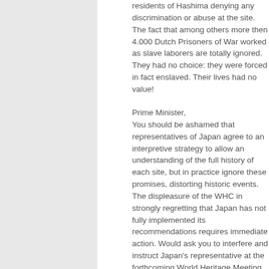residents of Hashima denying any discrimination or abuse at the site. The fact that among others more then 4.000 Dutch Prisoners of War worked as slave laborers are totally ignored. They had no choice: they were forced in fact enslaved. Their lives had no value!
Prime Minister,
You should be ashamed that representatives of Japan agree to an interpretive strategy to allow an understanding of the full history of each site, but in practice ignore these promises, distorting historic events. The displeasure of the WHC in strongly regretting that Japan has not fully implemented its recommendations requires immediate action. Would ask you to interfere and instruct Japan's representative at the forthcoming World Heritage Meeting to follow best international practices on the interpretation of the full history of the sites but also involving the industrial companies